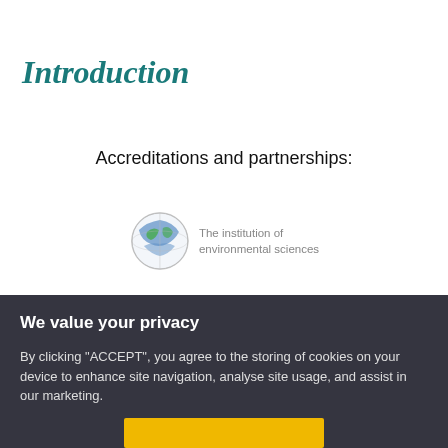Introduction
Accreditations and partnerships:
[Figure (logo): The institution of environmental sciences logo — globe icon with green and blue colors, with text 'The institution of environmental sciences' to the right]
We value your privacy
By clicking "ACCEPT", you agree to the storing of cookies on your device to enhance site navigation, analyse site usage, and assist in our marketing.